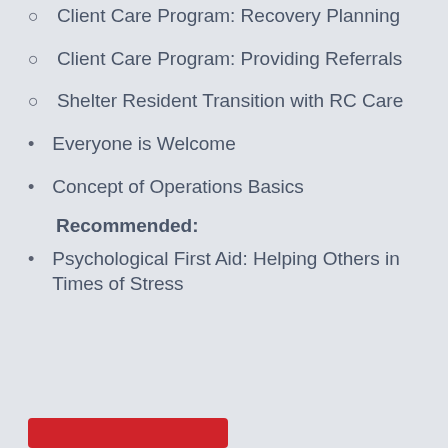Client Care Program: Recovery Planning
Client Care Program: Providing Referrals
Shelter Resident Transition with RC Care
Everyone is Welcome
Concept of Operations Basics
Recommended:
Psychological First Aid: Helping Others in Times of Stress